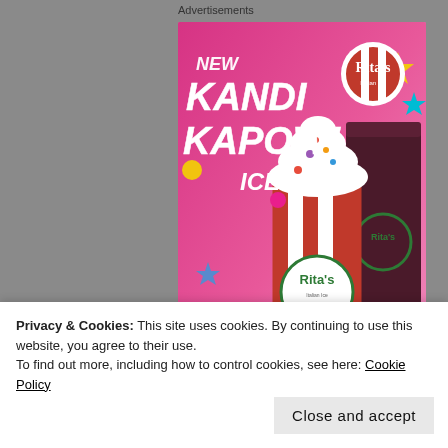Advertisements
[Figure (photo): Rita's Italian Ice advertisement showing 'NEW KANDI KAPOW! ICE' with colorful candy decorations and Rita's branded cups with ice cream and toppings on a pink background with Rita's logo]
REPORT THIS AD
MIKE A DAN S...
Privacy & Cookies: This site uses cookies. By continuing to use this website, you agree to their use.
To find out more, including how to control cookies, see here: Cookie Policy
Close and accept